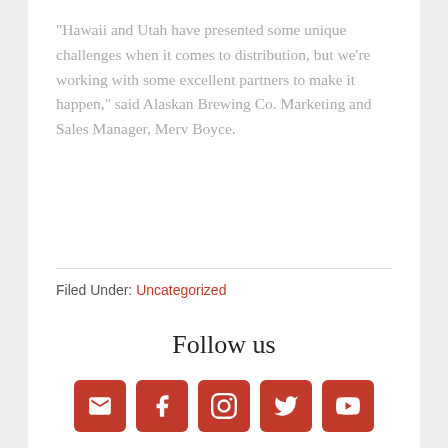“Hawaii and Utah have presented some unique challenges when it comes to distribution, but we’re working with some excellent partners to make it happen,” said Alaskan Brewing Co. Marketing and Sales Manager, Merv Boyce.
Filed Under: Uncategorized
Follow us
[Figure (other): Five red square social media icon buttons: email/envelope, Facebook, Instagram, Twitter, YouTube]